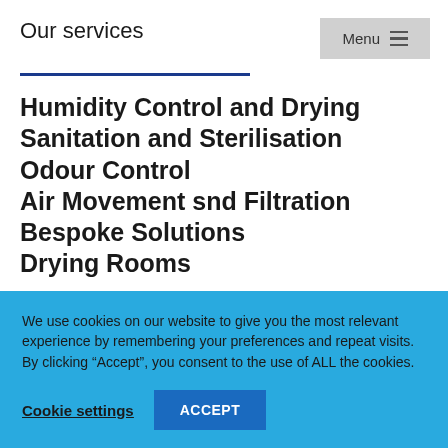Our services
Humidity Control and Drying
Sanitation and Sterilisation
Odour Control
Air Movement snd Filtration
Bespoke Solutions
Drying Rooms
We use cookies on our website to give you the most relevant experience by remembering your preferences and repeat visits. By clicking “Accept”, you consent to the use of ALL the cookies.
Cookie settings | ACCEPT